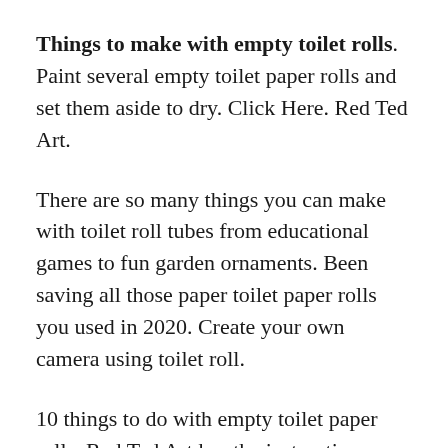Things to make with empty toilet rolls. Paint several empty toilet paper rolls and set them aside to dry. Click Here. Red Ted Art.
There are so many things you can make with toilet roll tubes from educational games to fun garden ornaments. Been saving all those paper toilet paper rolls you used in 2020. Create your own camera using toilet roll.
10 things to do with empty toilet paper rolls. Red Ted Art has the instructions on how to make it. Plus theyre so simple a child.